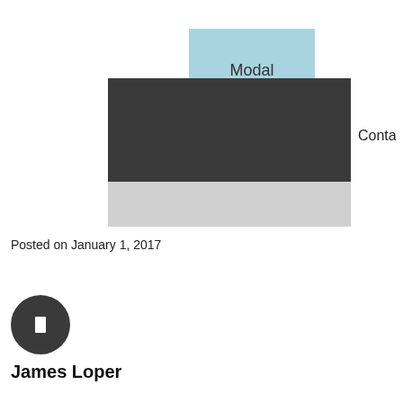[Figure (schematic): UI diagram showing a modal component overlapping a dark container bar, with a light gray panel below. The modal is a light blue rectangle labeled 'Modal' partially overlapping a dark charcoal rectangle. The word 'Container' appears to the right of the dark rectangle. Below the dark rectangle is a light gray rectangle.]
Posted on January 1, 2017
[Figure (illustration): A dark circular avatar icon with a small white rectangle symbol in the center, representing a user profile picture placeholder.]
James Loper